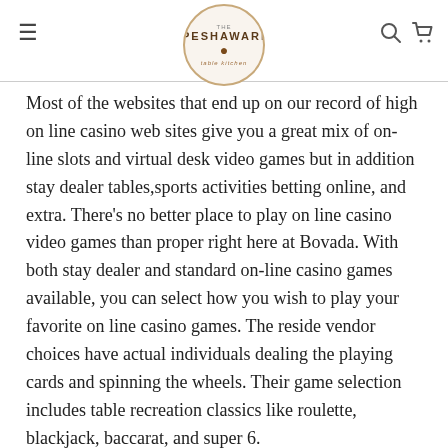THE PESHAWARI — table kitchen
Most of the websites that end up on our record of high on line casino web sites give you a great mix of on-line slots and virtual desk video games but in addition stay dealer tables,sports activities betting online, and extra. There's no better place to play on line casino video games than proper right here at Bovada. With both stay dealer and standard on-line casino games available, you can select how you wish to play your favorite on line casino games. The reside vendor choices have actual individuals dealing the playing cards and spinning the wheels. Their game selection includes table recreation classics like roulette, blackjack, baccarat, and super 6.
They are developed by trusted firms which have resonating success throughout the on line casino industry. Spade